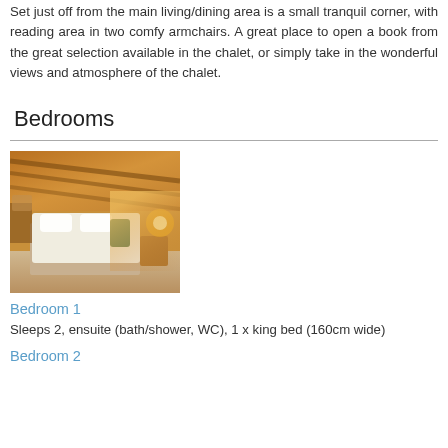Set just off from the main living/dining area is a small tranquil corner, with reading area in two comfy armchairs. A great place to open a book from the great selection available in the chalet, or simply take in the wonderful views and atmosphere of the chalet.
Bedrooms
[Figure (photo): Interior photo of a chalet bedroom with a king-size bed, wooden ceiling beams, warm lighting, and a bedside table]
Bedroom 1
Sleeps 2, ensuite (bath/shower, WC), 1 x king bed (160cm wide)
Bedroom 2